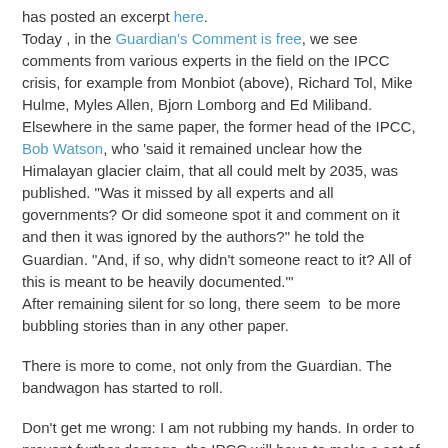has posted an excerpt here. Today , in the Guardian's Comment is free, we see comments from various experts in the field on the IPCC crisis, for example from Monbiot (above), Richard Tol, Mike Hulme, Myles Allen, Bjorn Lomborg and Ed Miliband. Elsewhere in the same paper, the former head of the IPCC, Bob Watson, who 'said it remained unclear how the Himalayan glacier claim, that all could melt by 2035, was published. "Was it missed by all experts and all governments? Or did someone spot it and comment on it and then it was ignored by the authors?" he told the Guardian. "And, if so, why didn't someone react to it? All of this is meant to be heavily documented."' After remaining silent for so long, there seem  to be more bubbling stories than in any other paper.
There is more to come, not only from the Guardian. The bandwagon has started to roll.
Don't get me wrong: I am not rubbing my hands. In order to prevent further damage, the IPCC will have to make a set of urgent and fundamental changes. The sooner this is done,